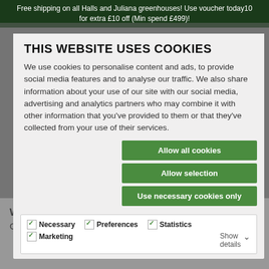Free shipping on all Halls and Juliana greenhouses! Use voucher today10 for extra £10 off (Min spend £499)!
THIS WEBSITE USES COOKIES
We use cookies to personalise content and ads, to provide social media features and to analyse our traffic. We also share information about your use of our site with our social media, advertising and analytics partners who may combine it with other information that you've provided to them or that they've collected from your use of their services.
Allow all cookies
Allow selection
Use necessary cookies only
Necessary  Preferences  Statistics  Marketing  Show details
Want to order by phone?
Call us at 01242 662926